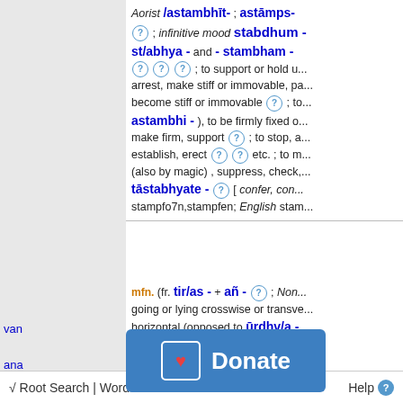Aorist /astambhīt- ; astāmps- ; infinitive mood stabdhum- ; st/abhya- and -stambham- ; to support or hold up, arrest, make stiff or immovable, paralyze; become stiff or immovable ; to astambhi- ), to be firmly fixed or established; make firm, support ; to stop, arrest, establish, erect etc. ; to m... (also by magic) , suppress, check, tāstabhyate- [ confer, con... stampfo7n,stampfen; English stamp...
mfn. (fr. tir/as- + añ- ; Non... going or lying crosswise or transversely, horizontal (opposed to ūrdhv/a- ...
van
ana
[Figure (other): Donate button overlay with heart icon and text 'Donate']
√ Root Search | Word    Help